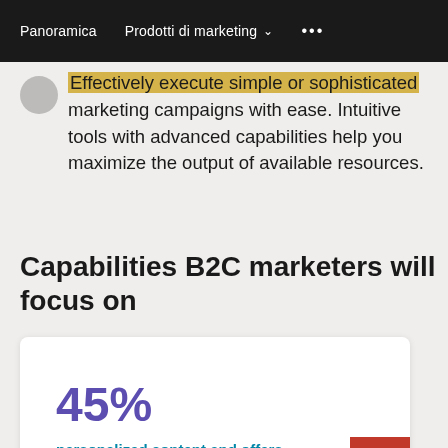Panoramica   Prodotti di marketing ▾   •••
Effectively execute simple or sophisticated marketing campaigns with ease. Intuitive tools with advanced capabilities help you maximize the output of available resources.
Capabilities B2C marketers will focus on
45%
personalized content and offers